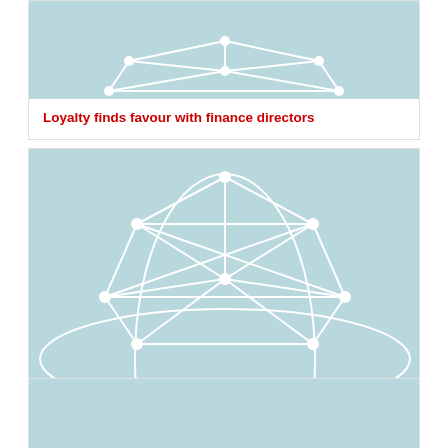[Figure (illustration): Partial network globe icon on light blue/teal background, cropped at top]
Loyalty finds favour with finance directors
[Figure (illustration): Full network globe icon on light blue/teal background showing interconnected nodes and lines forming a sphere]
Major programmes increasingly using statements as promotional devices
[Figure (illustration): Partial network globe icon on light blue/teal background, cropped at bottom of page]